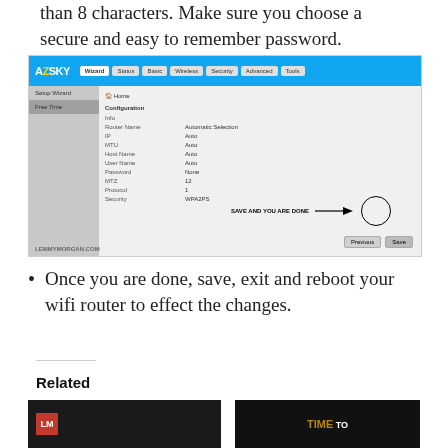than 8 characters. Make sure you choose a secure and easy to remember password.
[Figure (screenshot): Screenshot of an AZSKY router configuration interface showing wireless setup wizard with fields for Router Name, IP, MTU, Host Name, User Name, Password, MTZ, Protocol, Security. A 'SAVE AND YOU ARE DONE' annotation with arrow points to the Save button. Watermark reads LEMMYMORGAN.COM.]
Once you are done, save, exit and reboot your wifi router to effect the changes.
Related
[Figure (photo): Thumbnail image with LM logo in red on dark background]
[Figure (photo): Thumbnail with TIME TO text on dark background in gold and white]